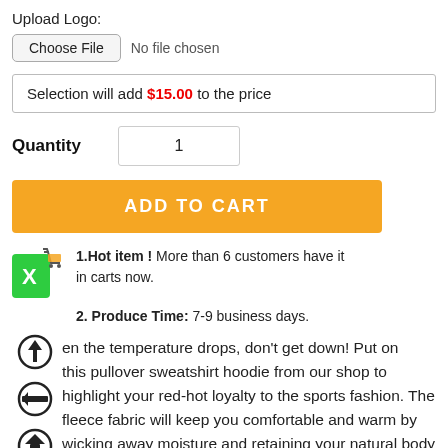Upload Logo:
Choose File  No file chosen
Selection will add $15.00 to the price
Quantity  1
ADD TO CART
1.Hot item ! More than 6 customers have it in carts now.
2. Produce Time: 7-9 business days.
When the temperature drops, don't get down! Put on this pullover sweatshirt hoodie from our shop to highlight your red-hot loyalty to the sports fashion. The fleece fabric will keep you comfortable and warm by wicking away moisture and retaining your natural body